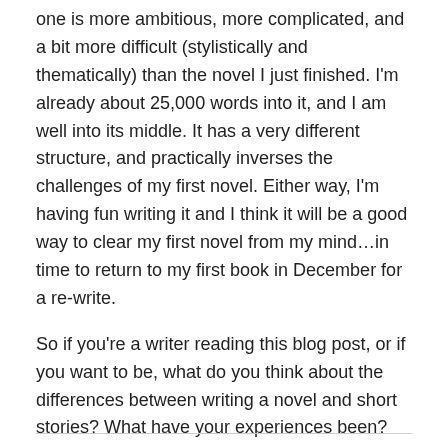one is more ambitious, more complicated, and a bit more difficult (stylistically and thematically) than the novel I just finished. I'm already about 25,000 words into it, and I am well into its middle. It has a very different structure, and practically inverses the challenges of my first novel. Either way, I'm having fun writing it and I think it will be a good way to clear my first novel from my mind…in time to return to my first book in December for a re-write.
So if you're a writer reading this blog post, or if you want to be, what do you think about the differences between writing a novel and short stories? What have your experiences been? There are probably about as many methodologies and lessons to be learned as there are writers, so I'd love to hear your experiences and thoughts.